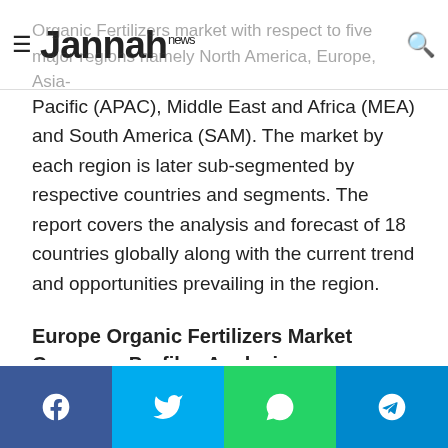Jannah news
Organic Fertilizers market with respect to five major regions namely North America, Europe, Asia-Pacific (APAC), Middle East and Africa (MEA) and South America (SAM). The market by each region is later sub-segmented by respective countries and segments. The report covers the analysis and forecast of 18 countries globally along with the current trend and opportunities prevailing in the region.
Europe Organic Fertilizers Market Company Profiles Analysis:
DESCRIPTION
TABLE OF CONTENT